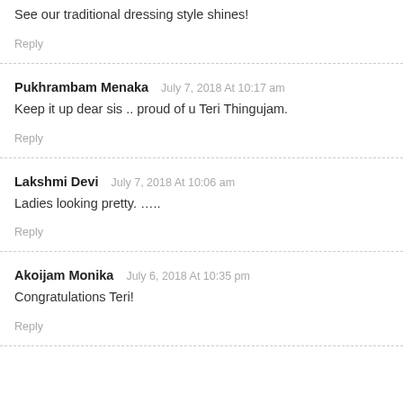See our traditional dressing style shines!
Reply
Pukhrambam Menaka   July 7, 2018 At 10:17 am
Keep it up dear sis .. proud of u Teri Thingujam.
Reply
Lakshmi Devi   July 7, 2018 At 10:06 am
Ladies looking pretty. .....
Reply
Akoijam Monika   July 6, 2018 At 10:35 pm
Congratulations Teri!
Reply